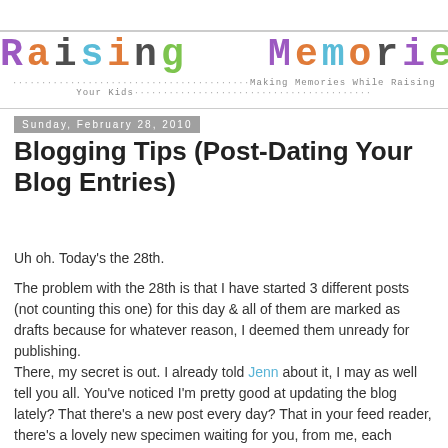[Figure (logo): Raising Memories blog logo with colorful typewriter-style font letters and tagline 'Making Memories While Raising Your Kids']
Sunday, February 28, 2010
Blogging Tips (Post-Dating Your Blog Entries)
Uh oh. Today's the 28th.
The problem with the 28th is that I have started 3 different posts (not counting this one) for this day & all of them are marked as drafts because for whatever reason, I deemed them unready for publishing.
There, my secret is out. I already told Jenn about it, I may as well tell you all. You've noticed I'm pretty good at updating the blog lately? That there's a new post every day? That in your feed reader, there's a lovely new specimen waiting for you, from me, each morning? That, my friends, is not